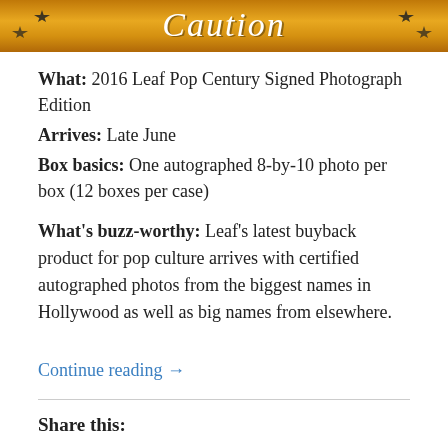[Figure (photo): Banner image showing stylized cursive text 'Caution' on a golden/orange textured background with star shapes on sides]
What: 2016 Leaf Pop Century Signed Photograph Edition
Arrives: Late June
Box basics: One autographed 8-by-10 photo per box (12 boxes per case)
What's buzz-worthy: Leaf's latest buyback product for pop culture arrives with certified autographed photos from the biggest names in Hollywood as well as big names from elsewhere.
Continue reading →
Share this:
Twitter  Facebook  LinkedIn  Email  Pinterest